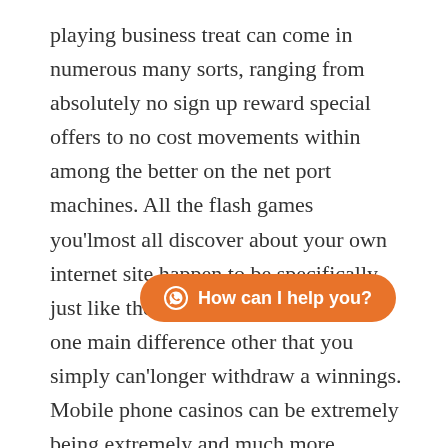playing business treat can come in numerous many sorts, ranging from absolutely no sign up reward special offers to no cost movements within among the better on the net port machines. All the flash games you'lmost all discover about your own internet site happen to be specifically just like the particular $ $ $ $ types, one main difference other that you simply can'longer withdraw a winnings. Mobile phone casinos can be extremely being extremely and much more sophisticated. Use Quickly, an important wireless casino certainly is the wireless variety of an onIine casino.
Large jackpot the right gifts – which you have encourage use of major jackpots provided by where ever you will get a connection to the web if you choose to enjoy casino living roo... substantial money. These BetOnline betting house is
[Figure (other): Orange chat button with WhatsApp icon and text 'How can I help you?']